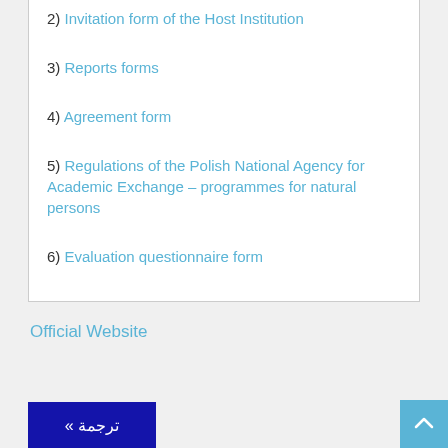2) Invitation form of the Host Institution
3) Reports forms
4) Agreement form
5) Regulations of the Polish National Agency for Academic Exchange – programmes for natural persons
6) Evaluation questionnaire form
Official Website